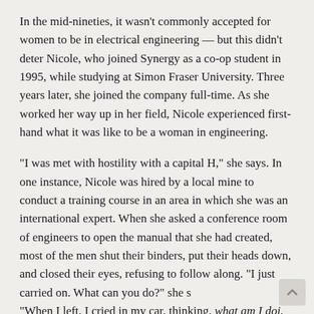In the mid-nineties, it wasn't commonly accepted for women to be in electrical engineering — but this didn't deter Nicole, who joined Synergy as a co-op student in 1995, while studying at Simon Fraser University. Three years later, she joined the company full-time. As she worked her way up in her field, Nicole experienced first-hand what it was like to be a woman in engineering.
“I was met with hostility with a capital H,” she says. In one instance, Nicole was hired by a local mine to conduct a training course in an area in which she was an international expert. When she asked a conference room of engineers to open the manual that she had created, most of the men shut their binders, put their heads down, and closed their eyes, refusing to follow along. “I just carried on. What can you do?” she s “When I left, I cried in my car, thinking, what am I doi. Why am I doing this to myself?”